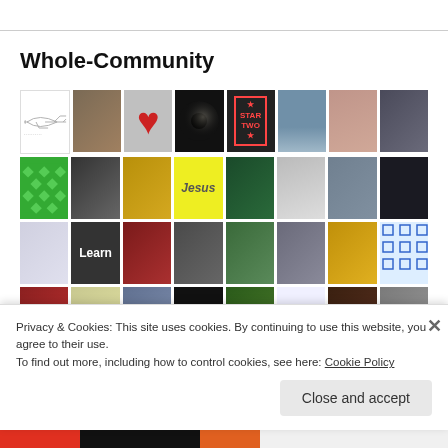Whole-Community
[Figure (photo): Grid of community member profile pictures and blog avatars including airplane illustration, cats, heart, solar eclipse, Star Two logo, beach scene, portraits, diamond pattern, ring, clock, Jesus text, green face illustration, anime girl, cartoon character, learn chalkboard, lips, elderly woman, woman with dark hair, man portrait, food, building grid pattern, boy in red, lemon, girl portrait, The Daily Jewels logo, tree, pink bag, coffee beans, older gentleman]
Privacy & Cookies: This site uses cookies. By continuing to use this website, you agree to their use.
To find out more, including how to control cookies, see here: Cookie Policy
Close and accept